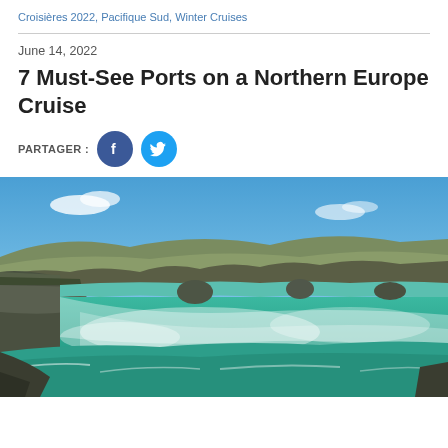Croisières 2022, Pacifique Sud, Winter Cruises
June 14, 2022
7 Must-See Ports on a Northern Europe Cruise
PARTAGER :
[Figure (photo): Scenic waterfall in Northern Europe (Iceland), with turquoise rushing water cascading over a wide cliff edge, rocky outcroppings, green hillside landscape, and blue sky with clouds in the background.]